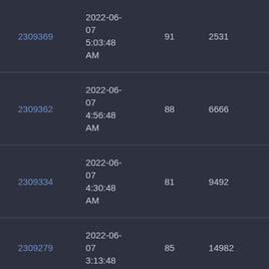| 2309369 | 2022-06-07 5:03:48 AM | 91 | 2531 |
| 2309362 | 2022-06-07 4:56:48 AM | 88 | 6666 |
| 2309334 | 2022-06-07 4:30:48 AM | 81 | 9492 |
| 2309279 | 2022-06-07 3:13:48 AM | 85 | 14982 |